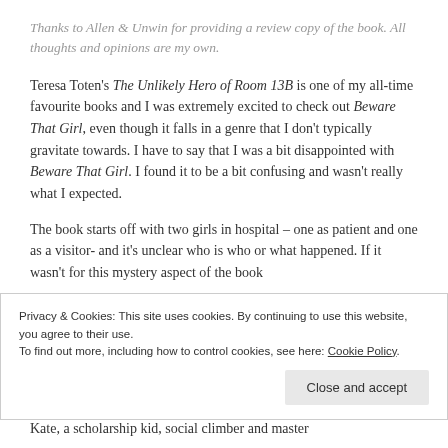Thanks to Allen & Unwin for providing a review copy of the book. All thoughts and opinions are my own.
Teresa Toten's The Unlikely Hero of Room 13B is one of my all-time favourite books and I was extremely excited to check out Beware That Girl, even though it falls in a genre that I don't typically gravitate towards. I have to say that I was a bit disappointed with Beware That Girl. I found it to be a bit confusing and wasn't really what I expected.
The book starts off with two girls in hospital – one as patient and one as a visitor- and it's unclear who is who or what happened. If it wasn't for this mystery aspect of the book
Privacy & Cookies: This site uses cookies. By continuing to use this website, you agree to their use.
To find out more, including how to control cookies, see here: Cookie Policy
Kate, a scholarship kid, social climber and master